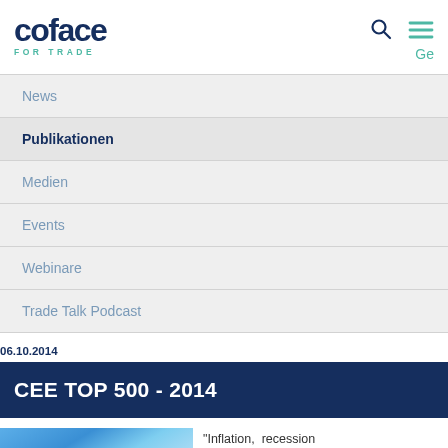[Figure (logo): Coface 'FOR TRADE' logo in dark navy blue with teal subtitle]
Ge
News
Publikationen
Medien
Events
Webinare
Trade Talk Podcast
06.10.2014
CEE TOP 500 - 2014
“Inflation, recession